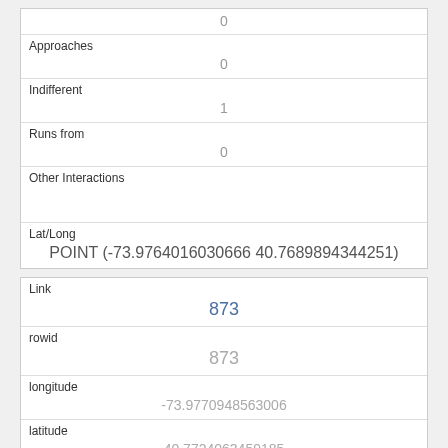| 0 |
| Approaches | 0 |
| Indifferent | 1 |
| Runs from | 0 |
| Other Interactions |  |
| Lat/Long | POINT (-73.9764016030666 40.7689894344251) |
| Link | 873 |
| rowid | 873 |
| longitude | -73.9770948563006 |
| latitude | 40.7724063459185 |
| Unique Squirrel ID |  |